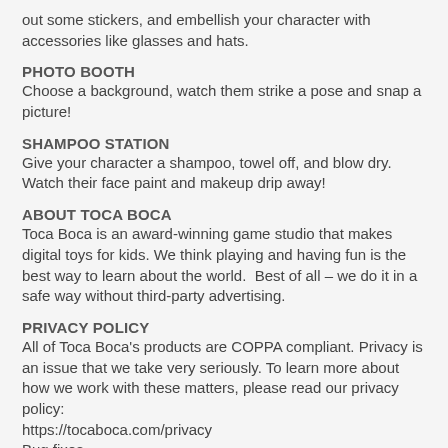out some stickers, and embellish your character with accessories like glasses and hats.
PHOTO BOOTH
Choose a background, watch them strike a pose and snap a picture!
SHAMPOO STATION
Give your character a shampoo, towel off, and blow dry. Watch their face paint and makeup drip away!
ABOUT TOCA BOCA
Toca Boca is an award-winning game studio that makes digital toys for kids. We think playing and having fun is the best way to learn about the world.  Best of all – we do it in a safe way without third-party advertising.
PRIVACY POLICY
All of Toca Boca's products are COPPA compliant. Privacy is an issue that we take very seriously. To learn more about how we work with these matters, please read our privacy policy:
https://tocaboca.com/privacy
Bug fixes